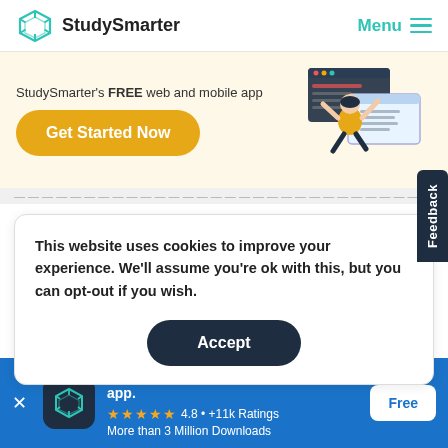[Figure (logo): StudySmarter logo with teal geometric box icon and 'StudySmarter' text]
Menu
StudySmarter's FREE web and mobile app
Get Started Now
[Figure (illustration): Person floating and interacting with app/browser windows illustration]
This website uses cookies to improve your experience. We'll assume you're ok with this, but you can opt-out if you wish.
Accept
StudySmarter - The all-in-one study app.
★★★★★  4.8 • +11k Ratings
More than 3 Million Downloads
Free